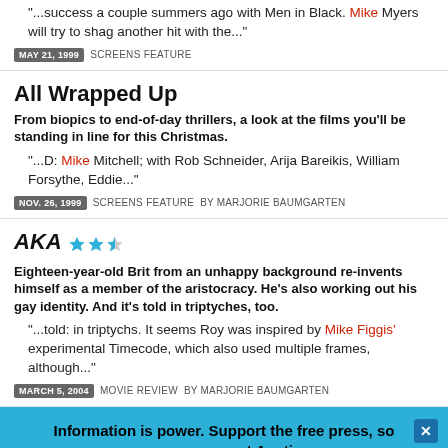"...success a couple summers ago with Men in Black. Mike Myers will try to shag another hit with the..."
MAY 21, 1999  SCREENS FEATURE
All Wrapped Up
From biopics to end-of-day thrillers, a look at the films you'll be standing in line for this Christmas.
"...D: Mike Mitchell; with Rob Schneider, Arija Bareikis, William Forsythe, Eddie..."
NOV. 26, 1999  SCREENS FEATURE BY MARJORIE BAUMGARTEN
AKA
Eighteen-year-old Brit from an unhappy background re-invents himself as a member of the aristocracy. He's also working out his gay identity. And it's told in triptyches, too.
"...told: in triptychs. It seems Roy was inspired by Mike Figgis' experimental Timecode, which also used multiple frames, although..."
MARCH 5, 2004  MOVIE REVIEW BY MARJORIE BAUMGARTEN
Information is power. Support the free press, so we can support Austin.
SUPPORT THE CHRONICLE →